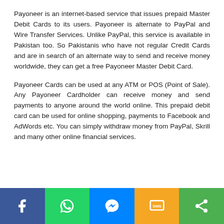Payoneer is an internet-based service that issues prepaid Master Debit Cards to its users. Payoneer is alternate to PayPal and Wire Transfer Services. Unlike PayPal, this service is available in Pakistan too. So Pakistanis who have not regular Credit Cards and are in search of an alternate way to send and receive money worldwide, they can get a free Payoneer Master Debit Card.
Payoneer Cards can be used at any ATM or POS (Point of Sale). Any Payoneer Cardholder can receive money and send payments to anyone around the world online. This prepaid debit card can be used for online shopping, payments to Facebook and AdWords etc. You can simply withdraw money from PayPal, Skrill and many other online financial services.
[Figure (infographic): Social share bar with five buttons: Facebook (blue), WhatsApp (green), Messenger (blue), SMS (yellow/orange), Share (green)]